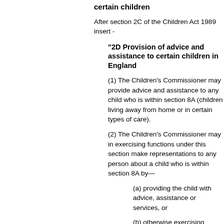certain children
After section 2C of the Children Act 1989 insert -
"2D Provision of advice and assistance to certain children in England
(1) The Children's Commissioner may provide advice and assistance to any child who is within section 8A (children living away from home or in certain types of care).
(2) The Children's Commissioner may in exercising functions under this section make representations to any person about a child who is within section 8A by—
(a) providing the child with advice, assistance or services, or
(b) otherwise exercising functions of the Commissioner in relation to the child."
[page 85]